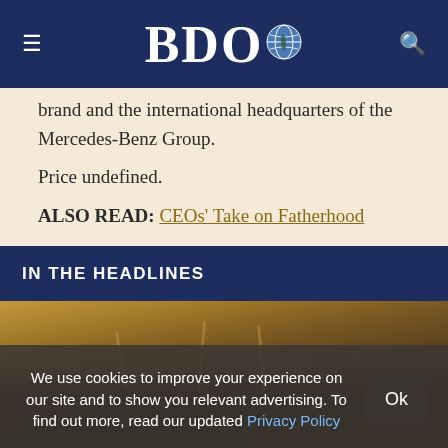BDO
brand and the international headquarters of the Mercedes-Benz Group.
Price undefined.
ALSO READ: CEOs' Take on Fatherhood
IN THE HEADLINES
[Figure (photo): Photo of people at a press conference with microphones, overlaid with a cookie consent banner reading: We use cookies to improve your experience on our site and to show you relevant advertising. To find out more, read our updated Privacy Policy. With an Ok button.]